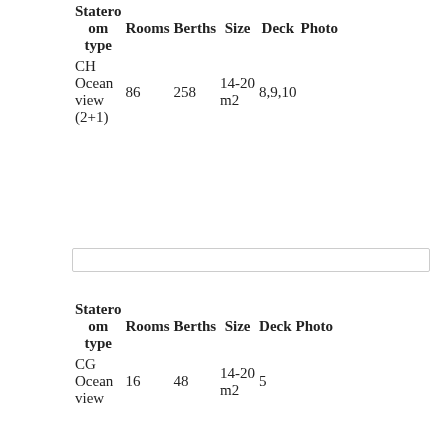| Stateroom type | Rooms | Berths | Size | Deck | Photo |
| --- | --- | --- | --- | --- | --- |
| CH Ocean view (2+1) | 86 | 258 | 14-20 m2 | 8,9,10 |  |
[Figure (other): Search/input bar (empty)]
| Stateroom type | Rooms | Berths | Size | Deck | Photo |
| --- | --- | --- | --- | --- | --- |
| CG Ocean view | 16 | 48 | 14-20 m2 | 5 |  |